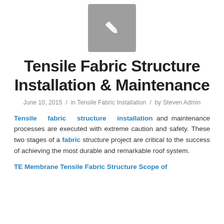[Figure (illustration): Gray square icon with a white pencil/edit symbol in the center]
Tensile Fabric Structure Installation & Maintenance
June 10, 2015 / in Tensile Fabric Installation / by Steven Admin
Tensile fabric structure installation and maintenance processes are executed with extreme caution and safety. These two stages of a fabric structure project are critical to the success of achieving the most durable and remarkable roof system.
TE Membrane Tensile Fabric Structure Scope of